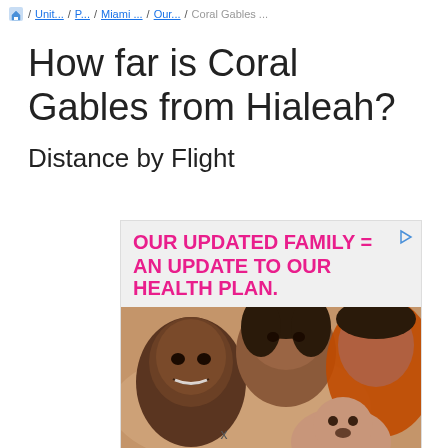🏠 / Unit... / P... / Miami... / Our... / Coral Gables...
How far is Coral Gables from Hialeah?
Distance by Flight
[Figure (photo): Advertisement banner with text 'OUR UPDATED FAMILY = AN UPDATE TO OUR HEALTH PLAN.' in bold pink/magenta uppercase letters, followed by a photo of a family (man, woman, and baby) lying together smiling.]
x